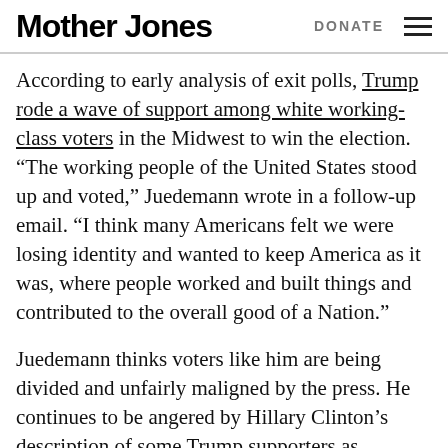Mother Jones | DONATE
According to early analysis of exit polls, Trump rode a wave of support among white working-class voters in the Midwest to win the election. “The working people of the United States stood up and voted,” Juedemann wrote in a follow-up email. “I think many Americans felt we were losing identity and wanted to keep America as it was, where people worked and built things and contributed to the overall good of a Nation.”
Juedemann thinks voters like him are being divided and unfairly maligned by the press. He continues to be angered by Hillary Clinton’s description of some Trump supporters as “deplorables” during a